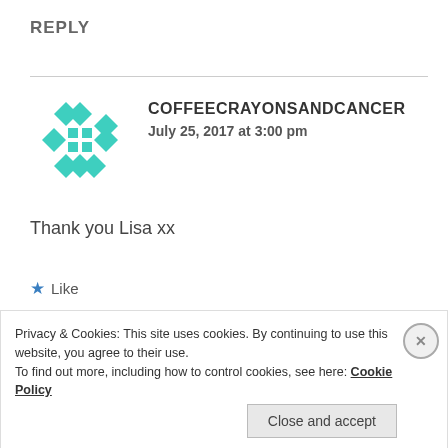REPLY
[Figure (illustration): Teal/turquoise geometric avatar icon made of interlocking square and diamond shapes in a circular pattern]
COFFEECRAYONSANDCANCER
July 25, 2017 at 3:00 pm
Thank you Lisa xx
★ Like
REPLY
Privacy & Cookies: This site uses cookies. By continuing to use this website, you agree to their use.
To find out more, including how to control cookies, see here: Cookie Policy
Close and accept